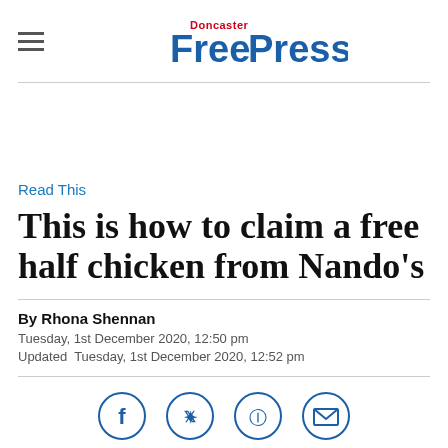Doncaster Free Press
Read This
This is how to claim a free half chicken from Nando's
By Rhona Shennan
Tuesday, 1st December 2020, 12:50 pm
Updated Tuesday, 1st December 2020, 12:52 pm
[Figure (other): Social media share icons: Facebook, Twitter, link/share, email]